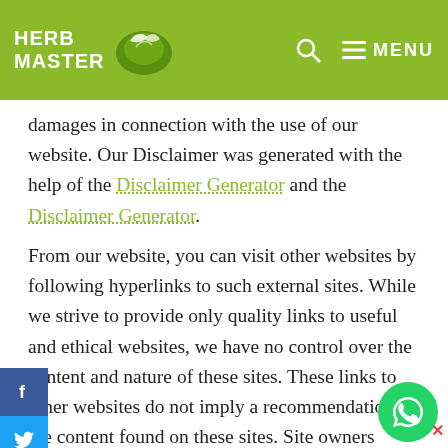HERB MASTER [logo] [search] ≡ MENU
damages in connection with the use of our website. Our Disclaimer was generated with the help of the Disclaimer Generator and the Disclaimer Generator.
From our website, you can visit other websites by following hyperlinks to such external sites. While we strive to provide only quality links to useful and ethical websites, we have no control over the content and nature of these sites. These links to other websites do not imply a recommendation all the content found on these sites. Site owners